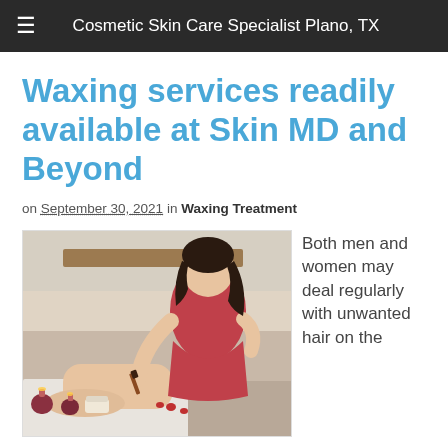≡  Cosmetic Skin Care Specialist Plano, TX
Waxing services readily available at Skin MD and Beyond
on September 30, 2021 in Waxing Treatment
[Figure (photo): A woman in a red dress applying wax to a client's leg in a spa setting, with candles and cream containers visible in the foreground.]
Both men and women may deal regularly with unwanted hair on the